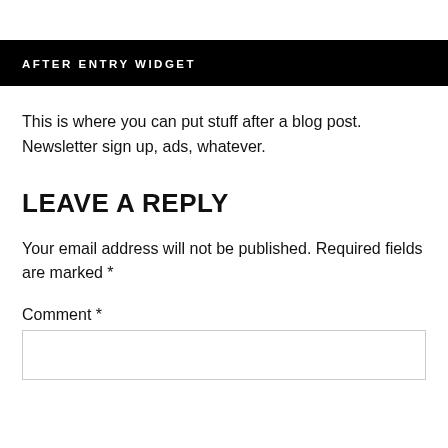AFTER ENTRY WIDGET
This is where you can put stuff after a blog post. Newsletter sign up, ads, whatever.
LEAVE A REPLY
Your email address will not be published. Required fields are marked *
Comment *